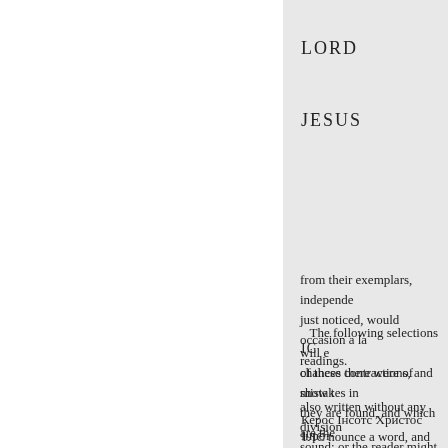LORD
JESUS
from their exemplars, independe... just noticed, would occasion a la... readings.
The following selections will e... of these contractions, and show t... chances there were of mistakes in... they are found, and which are the... also written without any division... sound; or the reader might mispr...
IC
1ЛЄ nounce a word, and misl...
Керос Інсотс Христос Інрот...